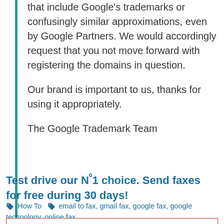that include Google's trademarks or confusingly similar approximations, even by Google Partners. We would accordingly request that you not move forward with registering the domains in question.
Our brand is important to us, thanks for using it appropriately.
The Google Trademark Team
Test drive our Nº1 choice. Send faxes for free during 30 days!
How To   email to fax, gmail fax, google fax, google technology, online fax
[Figure (illustration): Author avatar placeholder - grey silhouette of a person inside a red-bordered box]